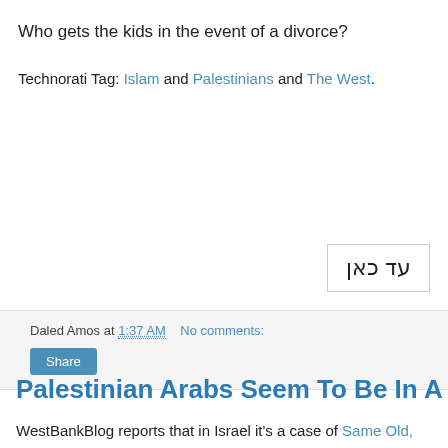Who gets the kids in the event of a divorce?
Technorati Tag: Islam and Palestinians and The West.
[Figure (other): Hebrew text box reading: עד כאן (ad kan)]
Daled Amos at 1:37 AM   No comments:
Share
Palestinian Arabs Seem To Be In A Rut
WestBankBlog reports that in Israel it's a case of Same Old, Same Old. But as much as that applies to the Palestinian Arabs, it's according to Ronald W. Shoaps that it applies to all